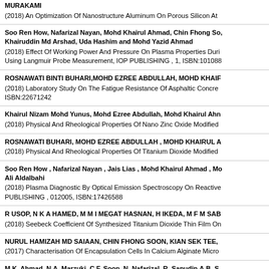MURAKAMI
(2018) An Optimization Of Nanostructure Aluminum On Porous Silicon At
Soo Ren How, Nafarizal Nayan, Mohd Khairul Ahmad, Chin Fhong So, Khairuddin Md Arshad, Uda Hashim and Mohd Yazid Ahmad
(2018) Effect Of Working Power And Pressure On Plasma Properties Duri Using Langmuir Probe Measurement, IOP PUBLISHING , 1, ISBN:101088
ROSNAWATI BINTI BUHARI,MOHD EZREE ABDULLAH, MOHD KHAIF
(2018) Laboratory Study On The Fatigue Resistance Of Asphaltic Concre ISBN:22671242
Khairul Nizam Mohd Yunus, Mohd Ezree Abdullah, Mohd Khairul Ahn
(2018) Physical And Rheological Properties Of Nano Zinc Oxide Modified
ROSNAWATI BUHARI, MOHD EZREE ABDULLAH , MOHD KHAIRUL A
(2018) Physical And Rheological Properties Of Titanium Dioxide Modified
Soo Ren How , Nafarizal Nayan , Jais Lias , Mohd Khairul Ahmad , Mo Ali Aldalbahi
(2018) Plasma Diagnostic By Optical Emission Spectroscopy On Reactive PUBLISHING , 012005, ISBN:17426588
R USOP, N K A HAMED, M M I MEGAT HASNAN, H IKEDA, M F M SAB
(2018) Seebeck Coefficient Of Synthesized Titanium Dioxide Thin Film On
NURUL HAMIZAH MD SAIAAN, CHIN FHONG SOON, KIAN SEK TEE,
(2017) Characterisation Of Encapsulation Cells In Calcium Alginate Micro
M.K. Ahmad, N.A. Marzuki, C.F. Soon, N. Nafarizal, R. Sanudin,A.B. S